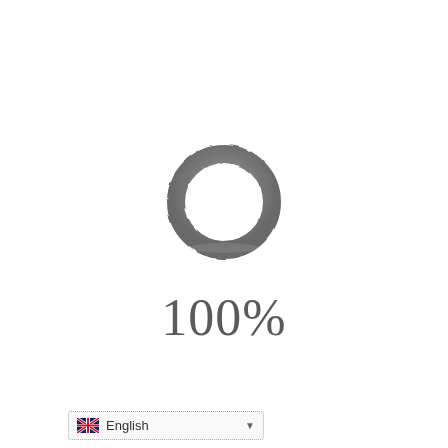[Figure (donut-chart): A circular ring/donut shape rendered in dark gray, representing 100% complete loading indicator]
100%
English